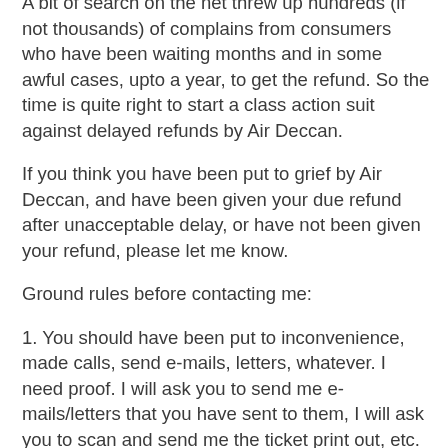A bit of search on the net threw up hundreds (if not thousands) of complains from consumers who have been waiting months and in some awful cases, upto a year, to get the refund. So the time is quite right to start a class action suit against delayed refunds by Air Deccan.
If you think you have been put to grief by Air Deccan, and have been given your due refund after unacceptable delay, or have not been given your refund, please let me know.
Ground rules before contacting me:
1. You should have been put to inconvenience, made calls, send e-mails, letters, whatever. I need proof. I will ask you to send me e-mails/letters that you have sent to them, I will ask you to scan and send me the ticket print out, etc. If you haven't called up customer care and threatened/begged/whatever them yet, DON'T contact me. I need proof of inconvenience to build up a strong case.
2. Read the conditions of your ticket very very carefully before contacting me. If it says non refundable ticket, DON'T